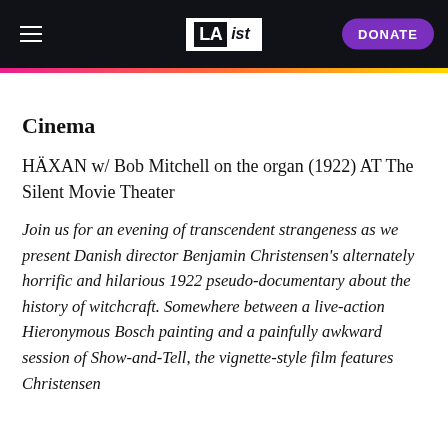LAist — DONATE
Cinema
HÄXAN w/ Bob Mitchell on the organ (1922) AT The Silent Movie Theater
Join us for an evening of transcendent strangeness as we present Danish director Benjamin Christensen's alternately horrific and hilarious 1922 pseudo-documentary about the history of witchcraft. Somewhere between a live-action Hieronymous Bosch painting and a painfully awkward session of Show-and-Tell, the vignette-style film features Christensen...